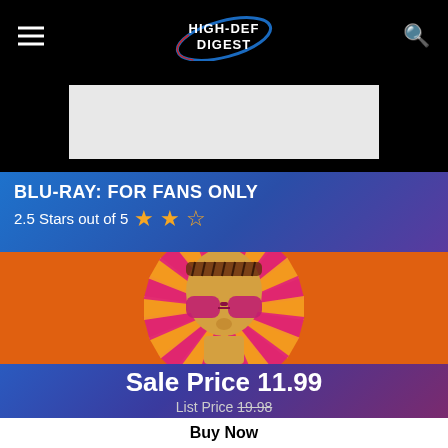High-Def Digest
[Figure (other): Advertisement placeholder banner, light gray rectangle on black background]
BLU-RAY: FOR FANS ONLY
2.5 Stars out of 5
[Figure (photo): Psychedelic movie poster/cover art showing a person with sunglasses and a headband against a colorful orange, pink, and yellow starburst background]
Sale Price 11.99
List Price 19.98
Buy Now